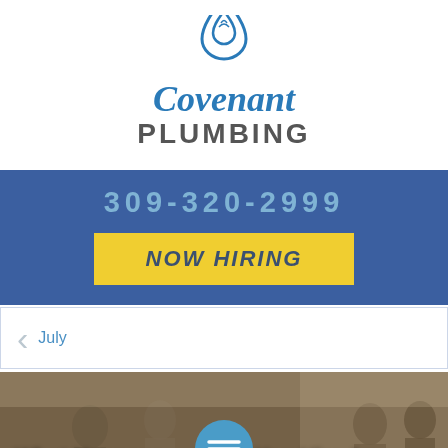[Figure (logo): Covenant Plumbing logo — a water drop icon above the script text 'Covenant' and bold text 'PLUMBING']
309-320-2999
NOW HIRING
July
[Figure (photo): Photo of people in a home setting, partially obscured by a circular menu icon overlay, with bold white headline text]
What Happens When You Hire An Unlicensed Plu... | Bloomington,